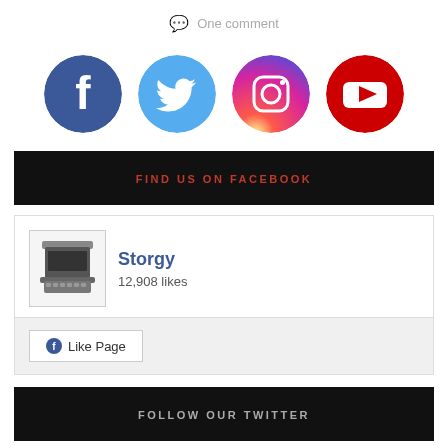One comment
[Figure (illustration): Four social media icons in circles: Facebook (blue), Twitter (light blue), Instagram (gradient purple-orange), YouTube (red with white play button)]
FIND US ON FACEBOOK
[Figure (screenshot): Facebook page widget showing Storgy page with typewriter thumbnail image, 12,908 likes, and a Like Page button]
FOLLOW OUR TWITTER